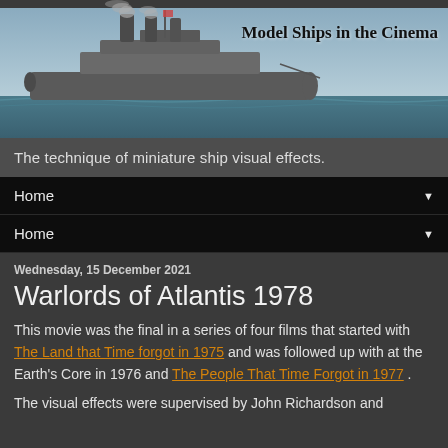[Figure (photo): A vintage warship/steamship at sea with smoke coming from its stacks, appearing to be from a film. The image has a blue-grey sky and ocean background. Text overlay reads 'Model Ships in the Cinema' in bold serif font on the right side.]
The technique of miniature ship visual effects.
Home ▼
Home ▼
Wednesday, 15 December 2021
Warlords of Atlantis 1978
This movie was the final in a series of four films that started with The Land that Time forgot in 1975 and was followed up with at the Earth's Core in 1976 and The People That Time Forgot in 1977 .
The visual effects were supervised by John Richardson and